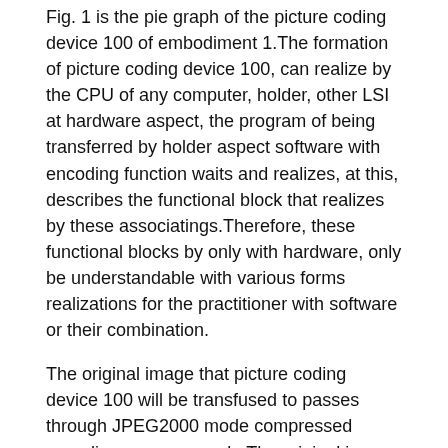Fig. 1 is the pie graph of the picture coding device 100 of embodiment 1.The formation of picture coding device 100, can realize by the CPU of any computer, holder, other LSI at hardware aspect, the program of being transferred by holder aspect software with encoding function waits and realizes, at this, describes the functional block that realizes by these associatings.Therefore, these functional blocks by only with hardware, only be understandable with various forms realizations for the practitioner with software or their combination.
The original image that picture coding device 100 will be transfused to passes through JPEG2000 mode compressed encoding as an example.The original image that is input to picture coding device 100 is the frame of motion video.Picture coding device 100 can enough JPEG2000 modes be encoded each frame of motion video continuously, generates the encoding stream of motion video.
The original image sub-band that wavelet transformation portion 10 will be transfused to is cut apart, calculate each sub-band image wavelet conversion coefficient, generate by the wavelet conversion coefficient of